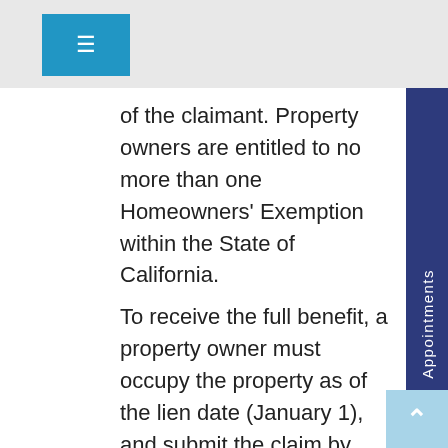[Figure (other): Blue hamburger menu button in top left corner]
of the claimant. Property owners are entitled to no more than one Homeowners' Exemption within the State of California.
To receive the full benefit, a property owner must occupy the property as of the lien date (January 1), and submit the claim by 5:00 p.m. on or before February 15. If a claim is received between the February 16 and 5:00 p.m. on December 10, 80 percent of the exemption will be awarded.
To receive a claim form, a homeowner may call the Assessor's Exemption Unit at (408) 299-6460 or e-mail the Assessor's Office at Exemptions@asr.sccgov.org. When contacting or e-mailing the Assessor's Office the property address and assessor parcel number should be included.
Throughout California, the entire PTARC...